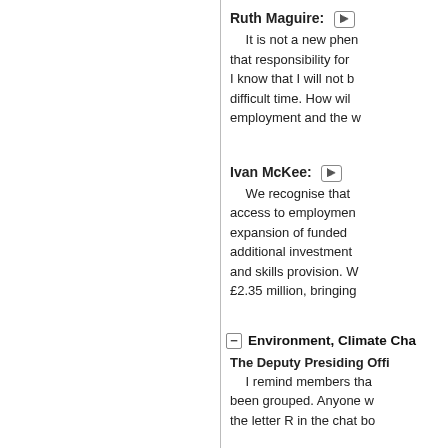Ruth Maguire: It is not a new phenomenon that responsibility for I know that I will not be difficult time. How will employment and the w
Ivan McKee: We recognise that access to employment expansion of funded additional investment and skills provision. W £2.35 million, bringing
Environment, Climate Cha
The Deputy Presiding Offi I remind members that been grouped. Anyone w the letter R in the chat bo
Net Zero Transition